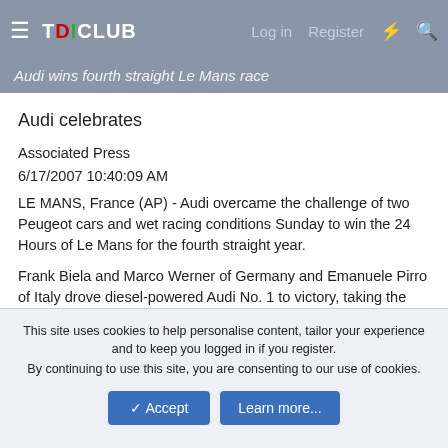TDICLUB — Log in  Register
Audi wins fourth straight Le Mans race
Audi celebrates
Associated Press
6/17/2007 10:40:09 AM
LE MANS, France (AP) - Audi overcame the challenge of two Peugeot cars and wet racing conditions Sunday to win the 24 Hours of Le Mans for the fourth straight year.
Frank Biela and Marco Werner of Germany and Emanuele Pirro of Italy drove diesel-powered Audi No. 1 to victory, taking the lead in the morning after Dindo Capello's Audi No. 2 crashed out.
This site uses cookies to help personalise content, tailor your experience and to keep you logged in if you register.
By continuing to use this site, you are consenting to our use of cookies.